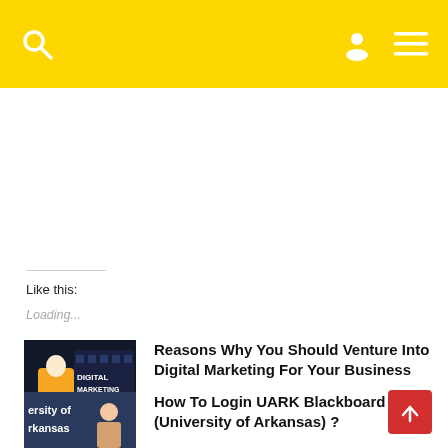[Search icon] [User icon] [Menu icon]
Like this:
Loading...
[Figure (photo): Thumbnail image for digital marketing article showing a person at a laptop with 'DIGITAL MARKETING' text overlay on a dark background]
Reasons Why You Should Venture Into Digital Marketing For Your Business
[Figure (photo): Thumbnail image for UARK Blackboard article showing text 'ersity of rkansas' on a blue background]
How To Login UARK Blackboard (University of Arkansas) ?